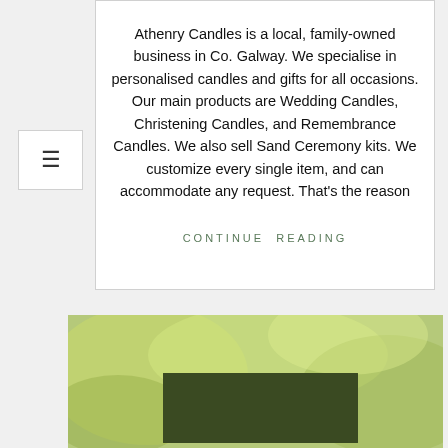Athenry Candles is a local, family-owned business in Co. Galway. We specialise in personalised candles and gifts for all occasions. Our main products are Wedding Candles, Christening Candles, and Remembrance Candles. We also sell Sand Ceremony kits. We customize every single item, and can accommodate any request. That's the reason
CONTINUE READING
[Figure (illustration): Banner image with green/yellow abstract background, bold text reading 'SUMMER'S CALLING' with thick black outline, and below it 'CELTIC' in serif small-caps style]